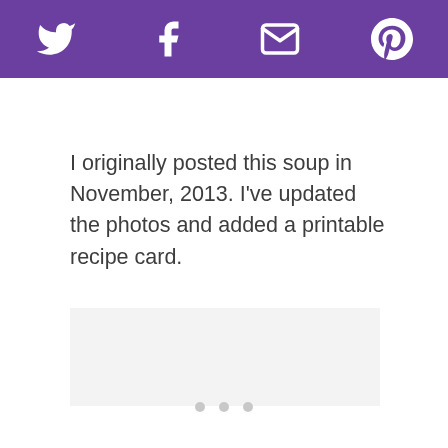Social media sharing bar with Twitter, Facebook, Email, and Pinterest icons
I originally posted this soup in November, 2013. I’ve updated the photos and added a printable recipe card.
[Figure (other): Light gray image placeholder area below the text]
[Figure (other): Three gray pagination dots at the bottom of the page]